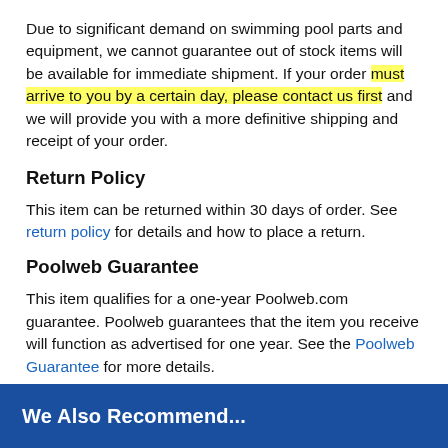Due to significant demand on swimming pool parts and equipment, we cannot guarantee out of stock items will be available for immediate shipment. If your order must arrive to you by a certain day, please contact us first and we will provide you with a more definitive shipping and receipt of your order.
Return Policy
This item can be returned within 30 days of order. See return policy for details and how to place a return.
Poolweb Guarantee
This item qualifies for a one-year Poolweb.com guarantee. Poolweb guarantees that the item you receive will function as advertised for one year. See the Poolweb Guarantee for more details.
We Also Recommend...